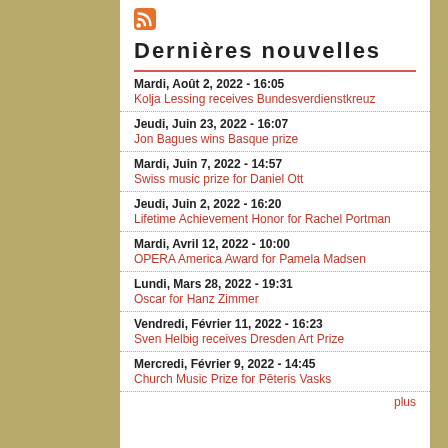Dernières nouvelles
Mardi, Août 2, 2022 - 16:05
Kolja Lessing receives Bundesverdienstkreuz
Jeudi, Juin 23, 2022 - 16:07
Jon Bagues wins Basque prize
Mardi, Juin 7, 2022 - 14:57
Swiss music prize for Daniel Ott
Jeudi, Juin 2, 2022 - 16:20
Lifetime Achievement Honor for Rachel Portman
Mardi, Avril 12, 2022 - 10:00
OPERA America Award for Pamela Madsen
Lundi, Mars 28, 2022 - 19:31
Oscar for Hanz Zimmer
Vendredi, Février 11, 2022 - 16:23
Sven Helbig receives Dresden Art Prize
Mercredi, Février 9, 2022 - 14:45
Church Music Prize for Pēteris Vasks
plus